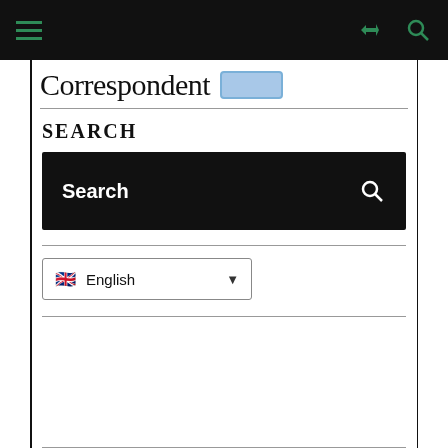Navigation bar with hamburger menu, share icon, and search icon
Correspondent
SEARCH
[Figure (screenshot): Black search bar with 'Search' placeholder text and a search (magnifying glass) icon on the right]
English (language selector dropdown with UK flag)